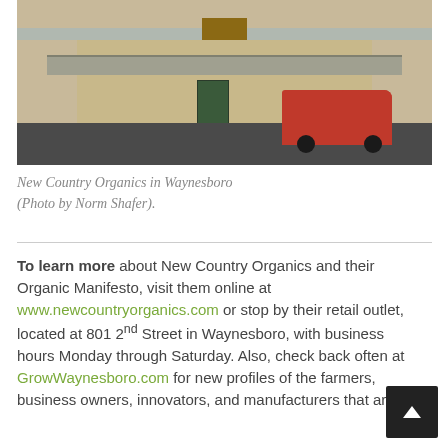[Figure (photo): Exterior photo of New Country Organics store in Waynesboro. A tan/beige commercial building with a metal roof and green-trimmed entrance. A red pickup truck is parked in the lot to the right.]
New Country Organics in Waynesboro (Photo by Norm Shafer).
To learn more about New Country Organics and their Organic Manifesto, visit them online at www.newcountryorganics.com or stop by their retail outlet, located at 801 2nd Street in Waynesboro, with business hours Monday through Saturday. Also, check back often at GrowWaynesboro.com for new profiles of the farmers, business owners, innovators, and manufacturers that are